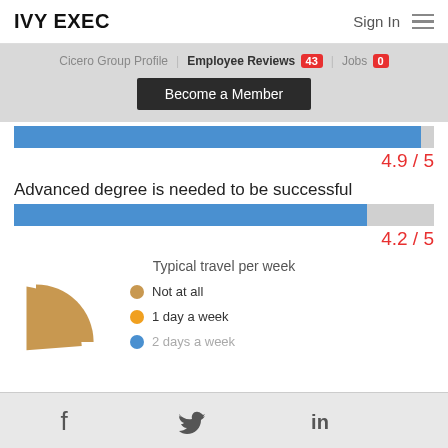IVY EXEC
Cicero Group Profile | Employee Reviews 43 | Jobs 0
Become a Member
[Figure (bar-chart): ]
Advanced degree is needed to be successful
[Figure (bar-chart): ]
Typical travel per week
[Figure (pie-chart): Typical travel per week]
Facebook | Twitter | LinkedIn